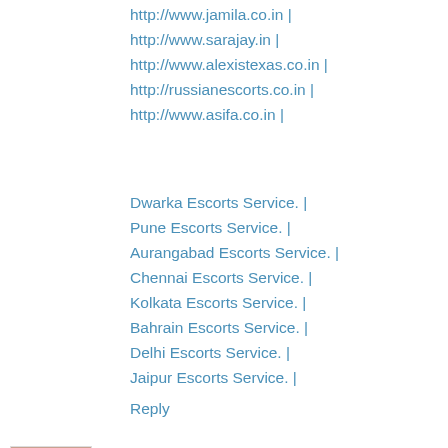http://www.jamila.co.in |
http://www.sarajay.in |
http://www.alexistexas.co.in |
http://russianescorts.co.in |
http://www.asifa.co.in |
Dwarka Escorts Service. |
Pune Escorts Service. |
Aurangabad Escorts Service. |
Chennai Escorts Service. |
Kolkata Escorts Service. |
Bahrain Escorts Service. |
Delhi Escorts Service. |
Jaipur Escorts Service. |
Reply
Dwarkafemaleescort 11 September, 2020 11:04
Katraj Escorts Service. |
Ravet Escorts Service. |